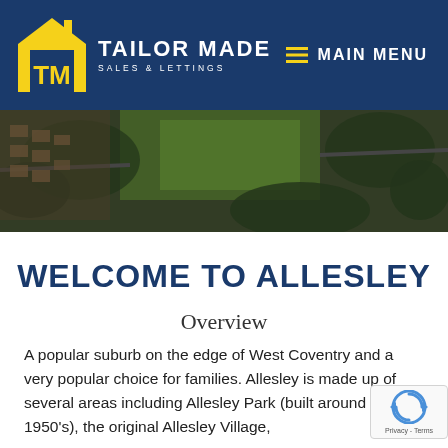[Figure (logo): Tailor Made Sales & Lettings logo with yellow house icon containing TM letters, white text TAILOR MADE and SALES & LETTINGS on dark blue header background]
[Figure (photo): Aerial drone photograph of Allesley area showing green parkland, residential streets, and trees from above]
WELCOME TO ALLESLEY
Overview
A popular suburb on the edge of West Coventry and a very popular choice for families. Allesley is made up of several areas including Allesley Park (built around the 1950's), the original Allesley Village,